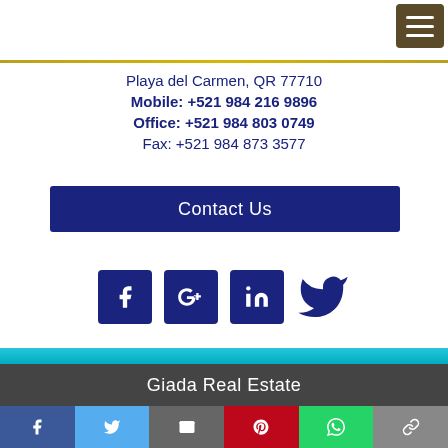[Figure (other): Hamburger menu button, brown background, top right corner]
Playa del Carmen, QR 77710
Mobile: +521 984 216 9896
Office: +521 984 803 0749
Fax: +521 984 873 3577
[Figure (other): Contact Us button, dark navy blue background, white text]
[Figure (other): Social media icons row: Facebook, Google+, LinkedIn (dark navy squares), Twitter bird icon]
[Figure (other): Teal/cyan decorative stripe]
Giada Real Estate
[Figure (other): Share bar with buttons: Facebook (blue), Twitter (light blue), Email (grey), Pinterest (red), WhatsApp (green), Link (grey)]